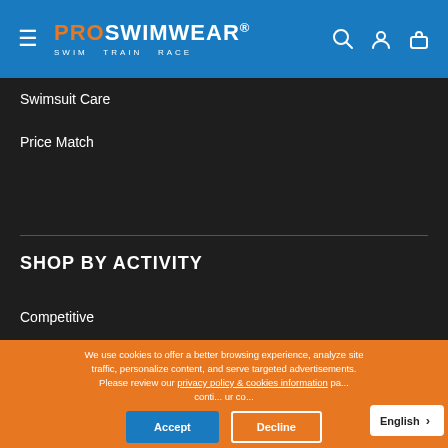PROSWIMWEAR® SWIM TRAIN RACE
Swimsuit Care
Price Match
SHOP BY ACTIVITY
Competitive
Fitness & Leisure
Triathlon
Swimrun
Open Water
We use cookies to offer a better browsing experience, analyze site traffic, personalize content, and serve targeted advertisements. Please review our privacy policy & cookies information pa... conti... ur co...
Accept | Decline | English >